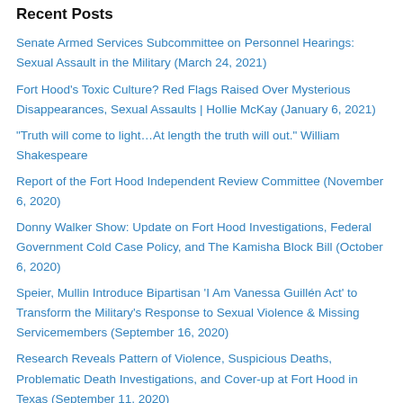Recent Posts
Senate Armed Services Subcommittee on Personnel Hearings: Sexual Assault in the Military (March 24, 2021)
Fort Hood's Toxic Culture? Red Flags Raised Over Mysterious Disappearances, Sexual Assaults | Hollie McKay (January 6, 2021)
“Truth will come to light…At length the truth will out.” William Shakespeare
Report of the Fort Hood Independent Review Committee (November 6, 2020)
Donny Walker Show: Update on Fort Hood Investigations, Federal Government Cold Case Policy, and The Kamisha Block Bill (October 6, 2020)
Speier, Mullin Introduce Bipartisan ‘I Am Vanessa Guillén Act’ to Transform the Military's Response to Sexual Violence & Missing Servicemembers (September 16, 2020)
Research Reveals Pattern of Violence, Suspicious Deaths, Problematic Death Investigations, and Cover-up at Fort Hood in Texas (September 11, 2020)
Fort Hood Army Sgt. Elder Fernandes Found Deceased in Temple, Texas; Death Ruled Suicide by Dallas Medical Examiner (August 25,